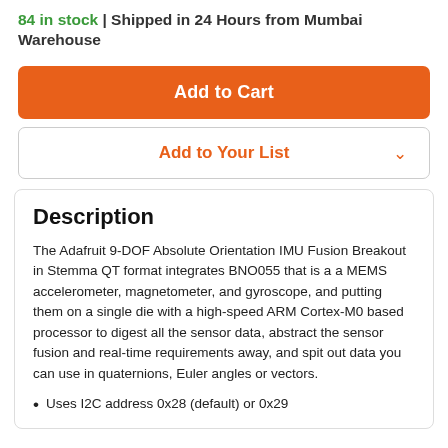84 in stock | Shipped in 24 Hours from Mumbai Warehouse
Add to Cart
Add to Your List
Description
The Adafruit 9-DOF Absolute Orientation IMU Fusion Breakout in Stemma QT format integrates BNO055 that is a a MEMS accelerometer, magnetometer, and gyroscope, and putting them on a single die with a high-speed ARM Cortex-M0 based processor to digest all the sensor data, abstract the sensor fusion and real-time requirements away, and spit out data you can use in quaternions, Euler angles or vectors.
Uses I2C address 0x28 (default) or 0x29